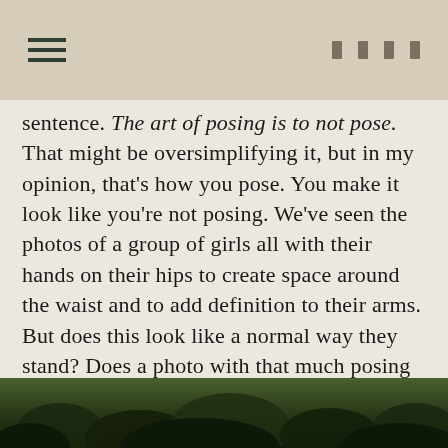☰    ▮ ▮ ▮ ▮
sentence. The art of posing is to not pose. That might be oversimplifying it, but in my opinion, that's how you pose. You make it look like you're not posing. We've seen the photos of a group of girls all with their hands on their hips to create space around the waist and to add definition to their arms. But does this look like a normal way they stand? Does a photo with that much posing ever feel authentic?
[Figure (photo): Dark photograph of trees/foliage, partially visible at bottom of page]